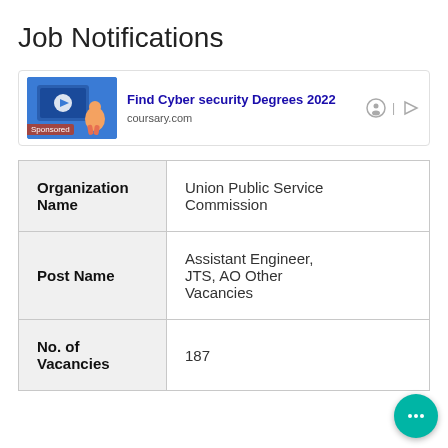Job Notifications
[Figure (other): Sponsored ad banner for 'Find Cyber security Degrees 2022' from coursary.com with a thumbnail image of a person at a computer and play button icon]
| Organization Name | Union Public Service Commission |
| Post Name | Assistant Engineer, JTS, AO Other Vacancies |
| No. of Vacancies | 187 |